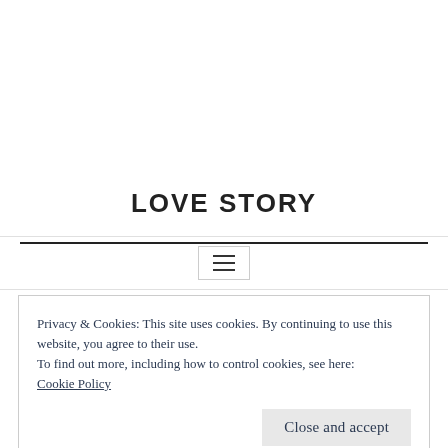[Figure (other): Navigation bar with hamburger menu icon (three horizontal lines)]
LOVE STORY
Privacy & Cookies: This site uses cookies. By continuing to use this website, you agree to their use.
To find out more, including how to control cookies, see here: Cookie Policy
Close and accept